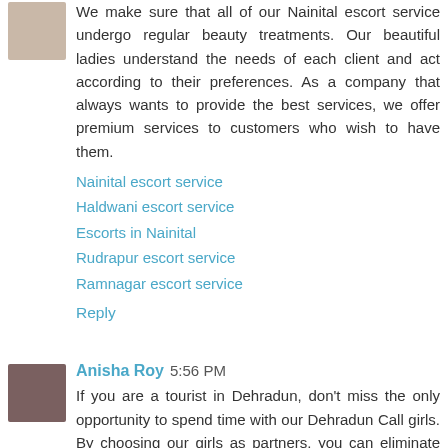We make sure that all of our Nainital escort service undergo regular beauty treatments. Our beautiful ladies understand the needs of each client and act according to their preferences. As a company that always wants to provide the best services, we offer premium services to customers who wish to have them.
Nainital escort service
Haldwani escort service
Escorts in Nainital
Rudrapur escort service
Ramnagar escort service
Reply
Anisha Roy  5:56 PM
If you are a tourist in Dehradun, don't miss the only opportunity to spend time with our Dehradun Call girls. By choosing our girls as partners, you can eliminate your loneliness that you can feel like a tourist in an unknown city. Our girls will make sure to give you satisfaction to leave you with an experience that will always remain with you in your memories.